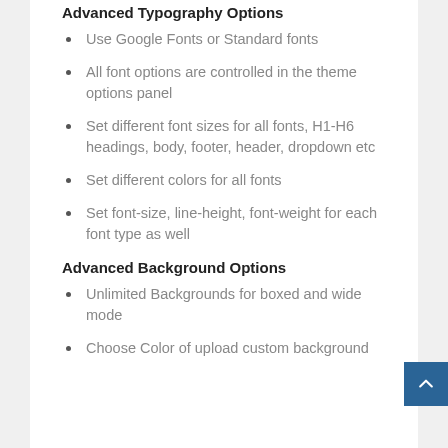Advanced Typography Options
Use Google Fonts or Standard fonts
All font options are controlled in the theme options panel
Set different font sizes for all fonts, H1-H6 headings, body, footer, header, dropdown etc
Set different colors for all fonts
Set font-size, line-height, font-weight for each font type as well
Advanced Background Options
Unlimited Backgrounds for boxed and wide mode
Choose Color of upload custom background